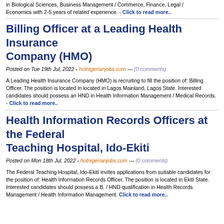in Biological Sciences, Business Management / Commerce, Finance, Legal / Economics with 2-5 years of related experience. - Click to read more..
Billing Officer at a Leading Health Insurance Company (HMO)
Posted on Tue 19th Jul, 2022 - hotnigerianjobs.com --- (0 comments)
A Leading Health Insurance Company (HMO) is recruiting to fill the position of: Billing Officer. The position is located in located in Lagos Mainland, Lagos State. Interested candidates should possess an HND in Health Information Management / Medical Records. - Click to read more..
Health Information Records Officers at the Federal Teaching Hospital, Ido-Ekiti
Posted on Mon 18th Jul, 2022 - hotnigerianjobs.com --- (0 comments)
The Federal Teaching Hospital, Ido-Ekiti invites applications from suitable candidates for the position of: Health Information Records Officer. The position is located in Ekiti State. Interested candidates should possess a B. / HND qualification in Health Records Management / Health Information Management. - Click to read more..